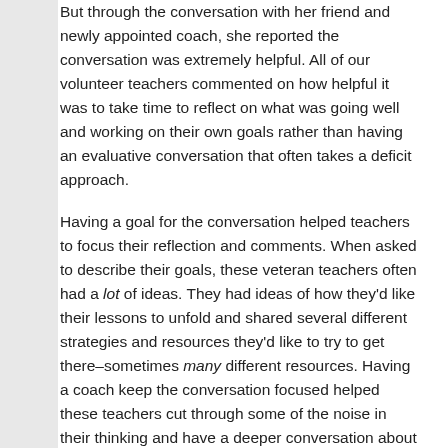But through the conversation with her friend and newly appointed coach, she reported the conversation was extremely helpful. All of our volunteer teachers commented on how helpful it was to take time to reflect on what was going well and working on their own goals rather than having an evaluative conversation that often takes a deficit approach.
Having a goal for the conversation helped teachers to focus their reflection and comments. When asked to describe their goals, these veteran teachers often had a lot of ideas. They had ideas of how they'd like their lessons to unfold and shared several different strategies and resources they'd like to try to get there–sometimes many different resources. Having a coach keep the conversation focused helped these teachers cut through some of the noise in their thinking and have a deeper conversation about the most important aspects of their goal, again, making the most of their brief time together. It also allowed the pair to determine if there were any underlying factors that might influence the teacher's motivation or thinking (see last week's entry on first- and